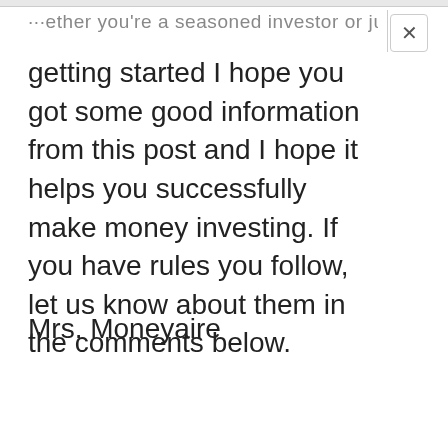...ether you're a seasoned investor or just
getting started I hope you got some good information from this post and I hope it helps you successfully make money investing. If you have rules you follow, let us know about them in the comments below.
Mrs. Moneyaire